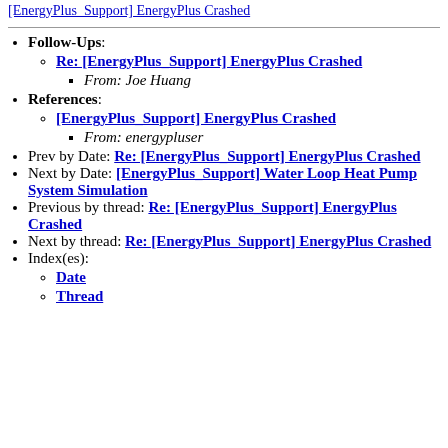Follow-Ups: Re: [EnergyPlus_Support] EnergyPlus Crashed - From: Joe Huang
References: [EnergyPlus_Support] EnergyPlus Crashed - From: energypluser
Prev by Date: Re: [EnergyPlus_Support] EnergyPlus Crashed
Next by Date: [EnergyPlus_Support] Water Loop Heat Pump System Simulation
Previous by thread: Re: [EnergyPlus_Support] EnergyPlus Crashed
Next by thread: Re: [EnergyPlus_Support] EnergyPlus Crashed
Index(es): Date, Thread